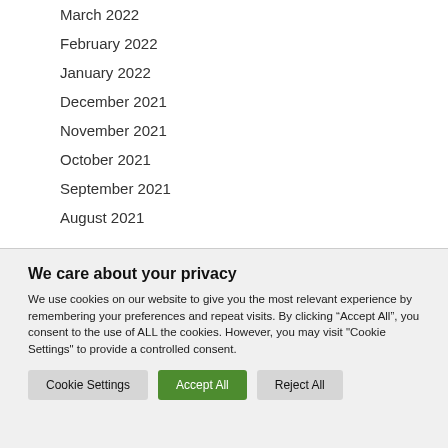March 2022
February 2022
January 2022
December 2021
November 2021
October 2021
September 2021
August 2021
We care about your privacy
We use cookies on our website to give you the most relevant experience by remembering your preferences and repeat visits. By clicking “Accept All”, you consent to the use of ALL the cookies. However, you may visit "Cookie Settings" to provide a controlled consent.